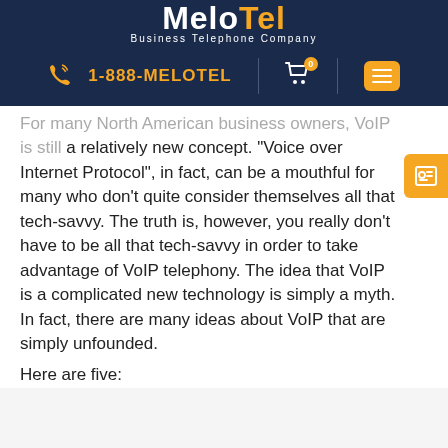MeloTel Business Telephone Company | 1-888-MELOTEL
For many North American business owners, VoIP is still a relatively new concept. “Voice over Internet Protocol”, in fact, can be a mouthful for many who don’t quite consider themselves all that tech-savvy. The truth is, however, you really don’t have to be all that tech-savvy in order to take advantage of VoIP telephony. The idea that VoIP is a complicated new technology is simply a myth. In fact, there are many ideas about VoIP that are simply unfounded.
Here are five:
1. It must be expensive. In fact, the complete opposite is true! MeloTel’s Commercial Phone Services provide our clients with crystal clear communication to more than 22 countries without